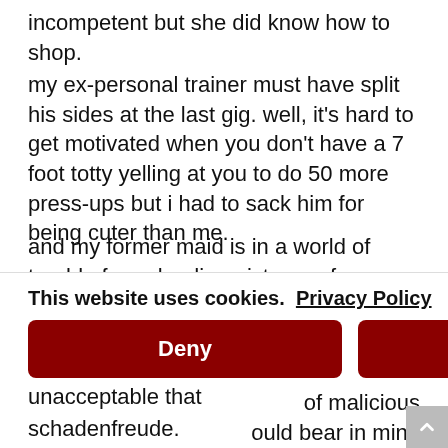incompetent but she did know how to shop.
my ex-personal trainer must have split his sides at the last gig. well, it's hard to get motivated when you don't have a 7 foot totty yelling at you to do 50 more press-ups but i had to sack him for being cuter than me.
and my former maid is in a world of trouble for uploading pictures of me wearing rubber gloves and a pinny but that's another story...
i find it particularly abhorrent and unacceptable that
of malicious
ould bear in mind
se of our
our fingertips to
urn for a bit of
schadenfreude.
This website uses cookies. Privacy Policy
Deny
Allow